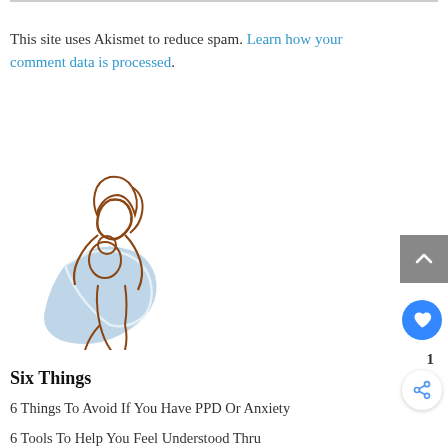This site uses Akismet to reduce spam. Learn how your comment data is processed.
[Figure (illustration): Line illustration of a mother holding a baby with a blue sling/wrap, drawn in brown and blue tones]
Six Things
6 Things To Avoid If You Have PPD Or Anxiety
6 Tools To Help You Feel Understood Thru